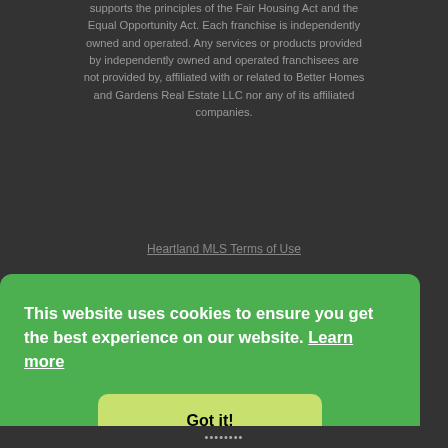supports the principles of the Fair Housing Act and the Equal Opportunity Act. Each franchise is independently owned and operated. Any services or products provided by independently owned and operated franchisees are not provided by, affiliated with or related to Better Homes and Gardens Real Estate LLC nor any of its affiliated companies.
Heartland MLS Terms of Use
This website uses cookies to ensure you get the best experience on our website. Learn more
Got it!